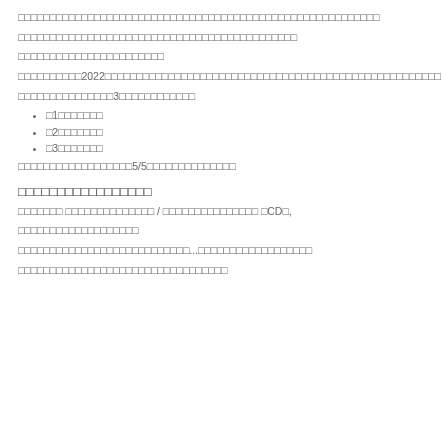□□□□□□□□□□□□□□□□□□□□□□□□□□□□□□□□□□□□□□□□□□□□□□□□□□□□□□□□□
□□□□□□□□□□□□□□□□□□□□□□□□□□□□□□□□□□□□□□□□□□□□
□□□□□□□□□□□□□□□□□□□□□□□
□□□□□□□□□□2022□□□□□□□□□□□□□□□□□□□□□□□□□□□□□□□□□□□□□□□□□□□□□□□□□□□□□
□□□□□□□□□□□□□□□3□□□□□□□□□□□□
□1□□□□□□□
□2□□□□□□□
□3□□□□□□□
□□□□□□□□□□□□□□□□□□5/5□□□□□□□□□□□□□□
□□□□□□□□□□□□□□□□□
□□□□□□□ □□□□□□□□□□□□□□ / □□□□□□□□□□□□□□□ □CD□,
□□□□□□□□□□□□□□□□□□□
□□□□□□□□□□□□□□□□□□□□□□□□□□□...□□□□□□□□□□□□□□□□□□
□□□□□□□□□□□□□□□□□□□□□□□□□□□□□□□□□